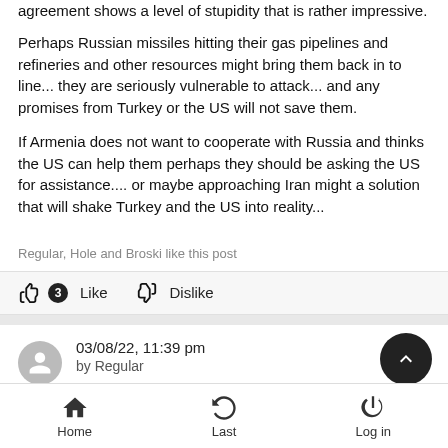agreement shows a level of stupidity that is rather impressive.
Perhaps Russian missiles hitting their gas pipelines and refineries and other resources might bring them back in to line... they are seriously vulnerable to attack... and any promises from Turkey or the US will not save them.
If Armenia does not want to cooperate with Russia and thinks the US can help them perhaps they should be asking the US for assistance.... or maybe approaching Iran might a solution that will shake Turkey and the US into reality...
Regular, Hole and Broski like this post
👍 3  Like    👎  Dislike
03/08/22, 11:39 pm
by Regular
Home   Last   Log in